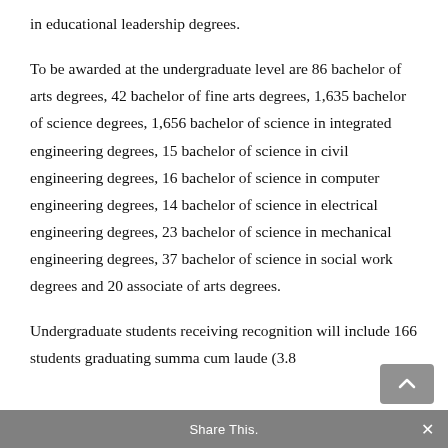in educational leadership degrees.
To be awarded at the undergraduate level are 86 bachelor of arts degrees, 42 bachelor of fine arts degrees, 1,635 bachelor of science degrees, 1,656 bachelor of science in integrated engineering degrees, 15 bachelor of science in civil engineering degrees, 16 bachelor of science in computer engineering degrees, 14 bachelor of science in electrical engineering degrees, 23 bachelor of science in mechanical engineering degrees, 37 bachelor of science in social work degrees and 20 associate of arts degrees.
Undergraduate students receiving recognition will include 166 students graduating summa cum laude (3.8
Share This.